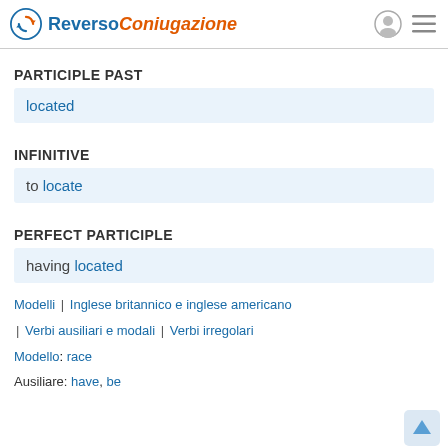Reverso Coniugazione
PARTICIPLE PAST
located
INFINITIVE
to locate
PERFECT PARTICIPLE
having located
Modelli | Inglese britannico e inglese americano
| Verbi ausiliari e modali | Verbi irregolari
Modello: race
Ausiliare: have, be